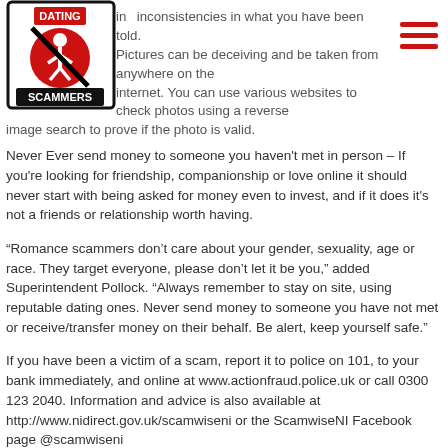[Figure (logo): Dating Scammers logo — circular red and black emblem with text DATING SCAMMERS]
in inconsistencies in what you have been told. Pictures can be deceiving and be taken from anywhere on the internet. You can use various websites to check photos using a reverse image search to prove if the photo is valid.
Never Ever send money to someone you haven't met in person – If you're looking for friendship, companionship or love online it should never start with being asked for money even to invest, and if it does it's not a friends or relationship worth having.
“Romance scammers don’t care about your gender, sexuality, age or race. They target everyone, please don’t let it be you,” added Superintendent Pollock. “Always remember to stay on site, using reputable dating ones. Never send money to someone you have not met or receive/transfer money on their behalf. Be alert, keep yourself safe.”
If you have been a victim of a scam, report it to police on 101, to your bank immediately, and online at www.actionfraud.police.uk or call 0300 123 2040. Information and advice is also available at http://www.nidirect.gov.uk/scamwiseni or the ScamwiseNI Facebook page @scamwiseni